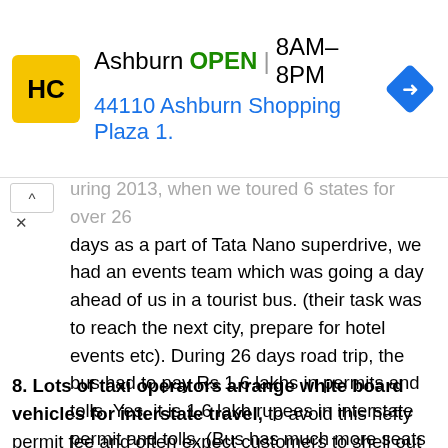[Figure (other): Advertisement banner for Ashburn HC store showing logo, OPEN status, hours 8AM-8PM, address 44110 Ashburn Shopping Plaza 1., and navigation icon]
during 2013, when we toured 6 states for over 26 days as a part of Tata Nano superdrive, we had an events team which was going a day ahead of us in a tourist bus. (their task was to reach the next city, prepare for hotel events etc). During 26 days road trip, the bus had to pay Rs 1.6 lakhs in permits and tolls. Yes, it is 1.6 lakh rupees in interstate permit and tolls. (Bus has much more seats compared to a taxi, so permit tax for a bus will be much higher)- this is about Rs 6200 a day OR Rs 27000 per state or Rs 29 per km.
8. Lots of taxi operators arrange white board vehicles for interstate travel, to avoid this hefty permit fee and often expect customers to shell out